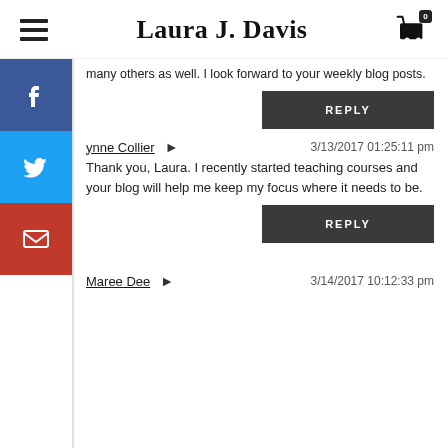Laura J. Davis
many others as well. I look forward to your weekly blog posts.
REPLY
ynne Collier   3/13/2017 01:25:11 pm
Thank you, Laura. I recently started teaching courses and your blog will help me keep my focus where it needs to be.
REPLY
Maree Dee   3/14/2017 10:12:33 pm